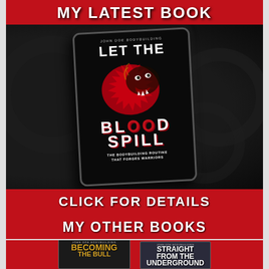MY LATEST BOOK
[Figure (photo): Book cover for 'Let the Blood Spill' by John Doe Bodybuilding, showing a roaring lion with red blood splatter on a black background, displayed as an e-reader/tablet mockup on a dark background with weight plates]
CLICK FOR DETAILS
MY OTHER BOOKS
[Figure (photo): Two smaller book covers: 'Becoming the Bull' by John Doe Bodybuilding (yellow/gold cover) and 'Straight From the Underground' by John Doe Bodybuilding (dark cover)]